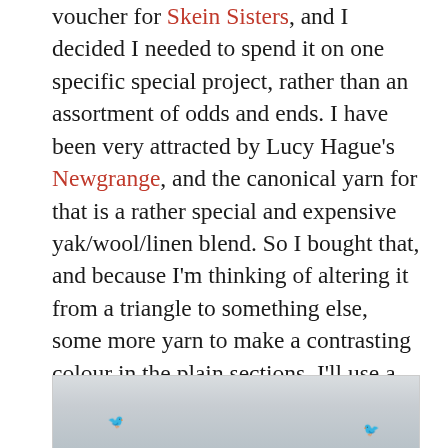voucher for Skein Sisters, and I decided I needed to spend it on one specific special project, rather than an assortment of odds and ends. I have been very attracted by Lucy Hague's Newgrange, and the canonical yarn for that is a rather special and expensive yak/wool/linen blend. So I bought that, and because I'm thinking of altering it from a triangle to something else, some more yarn to make a contrasting colour in the plain sections. I'll use a light watery blue, although a licheny green would also have been good.
[Figure (photo): Partial photograph showing a light grey/blue sky background with what appear to be birds or figures at the bottom edge of the image, partially cropped.]